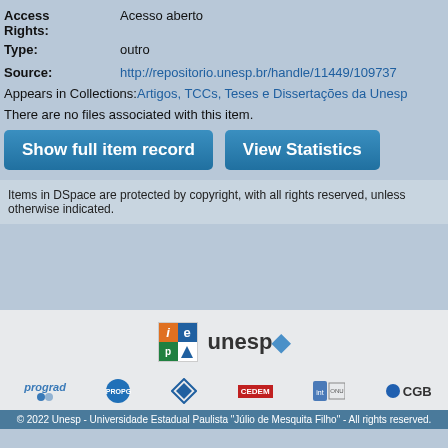Access Rights: Acesso aberto
Type: outro
Source: http://repositorio.unesp.br/handle/11449/109737
Appears in Collections: Artigos, TCCs, Teses e Dissertações da Unesp
There are no files associated with this item.
Show full item record | View Statistics
Items in DSpace are protected by copyright, with all rights reserved, unless otherwise indicated.
[Figure (logo): IE and Unesp logos]
[Figure (logo): Sponsor logos: prograd, PROPG, PROEX, CEDEM, another logo, CGB]
© 2022 Unesp - Universidade Estadual Paulista "Júlio de Mesquita Filho" - All rights reserved.